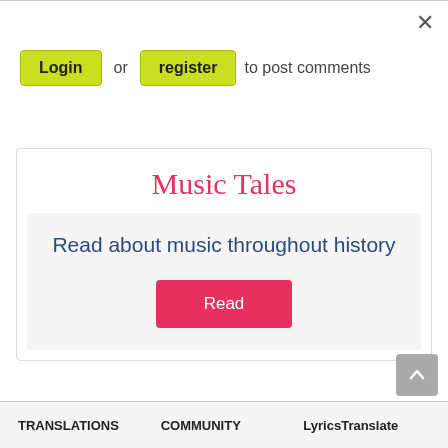×
Login or register to post comments
Music Tales
Read about music throughout history
Read
TRANSLATIONS   COMMUNITY   LyricsTranslate